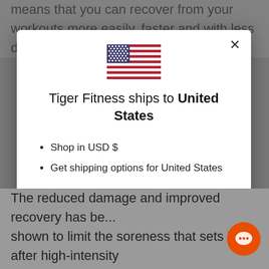means that you can recover from your workouts more easily, faster and with less downtime when getting back into your r...
[Figure (screenshot): Modal dialog showing Tiger Fitness ships to United States with a US flag icon, bullet points about shopping in USD and shipping options, a Shop now button, and a Change shipping country link.]
The reduced damage and improved recovery has been shown to limit the soreness that sets in after high-intensity